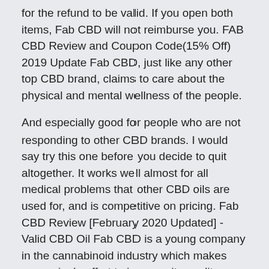for the refund to be valid. If you open both items, Fab CBD will not reimburse you. FAB CBD Review and Coupon Code(15% Off) 2019 Update Fab CBD, just like any other top CBD brand, claims to care about the physical and mental wellness of the people.
And especially good for people who are not responding to other CBD brands. I would say try this one before you decide to quit altogether. It works well almost for all medical problems that other CBD oils are used for, and is competitive on pricing. Fab CBD Review [February 2020 Updated] - Valid CBD Oil Fab CBD is a young company in the cannabinoid industry which makes every single effort to improve its quality. Thanks to the high commitment and transparency that the company demonstrates, it has recently won the hearts of many loyal customers. Best CBD Oil for 2020 – Our Top Picks